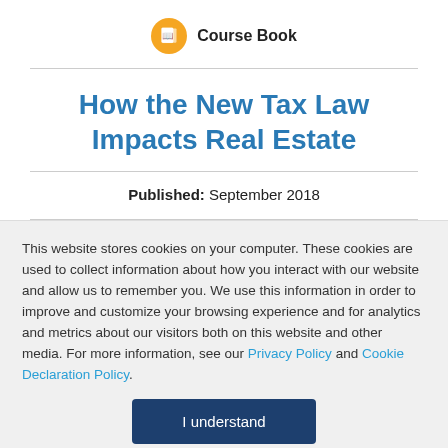Course Book
How the New Tax Law Impacts Real Estate
Published: September 2018
This website stores cookies on your computer. These cookies are used to collect information about how you interact with our website and allow us to remember you. We use this information in order to improve and customize your browsing experience and for analytics and metrics about our visitors both on this website and other media. For more information, see our Privacy Policy and Cookie Declaration Policy.
I understand